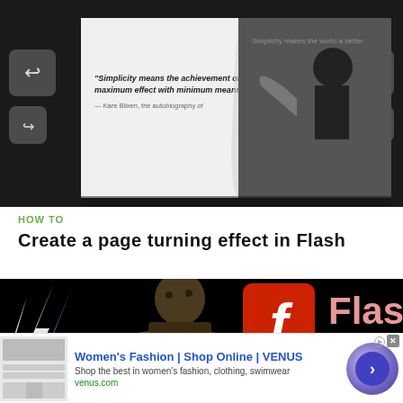[Figure (screenshot): Screenshot of a Flash page-turning tutorial interface showing a book page turn effect with navigation arrows on dark background and a silhouette figure with quote text]
HOW TO
Create a page turning effect in Flash
[Figure (screenshot): Dark promotional banner image showing a zombie figure with lightning bolts, Adobe Flash logo in red, and text 'Flash Animated Lightning' in white and pink]
[Figure (other): Advertisement banner: Women's Fashion | Shop Online | VENUS - Shop the best in women's fashion, clothing, swimwear - venus.com]